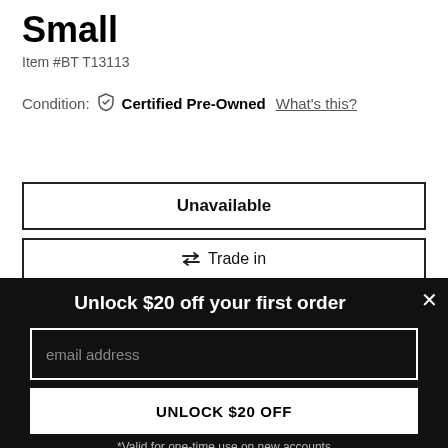Small
Item #BT T13113
Condition: Certified Pre-Owned What's this?
Unavailable
⇄ Trade in
Unlock $20 off your first order
email address
UNLOCK $20 OFF
*Valid for one-time use on new accounts